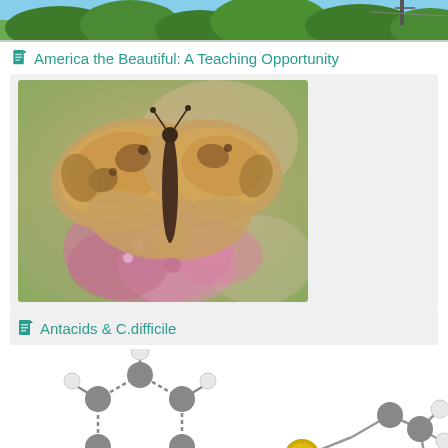[Figure (photo): Top portion of a photo showing trees and blue sky with what appears to be a tower or structure]
America the Beautiful: A Teaching Opportunity
[Figure (photo): Photo of two white peacock butterflies resting on pink flowers with blurred green background]
Antacids & C.difficile
[Figure (illustration): 3D molecular model with grey and white spheres in a ring structure with a red oxygen atom at bottom left, and a separate molecule with a yellow sulfur atom and grey/white spheres]